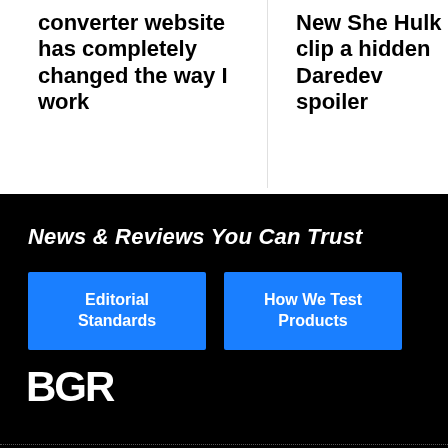converter website has completely changed the way I work
New She Hulk clip a hidden Daredev spoiler
News & Reviews You Can Trust
Editorial Standards
How We Test Products
[Figure (logo): BGR logo in white on black background]